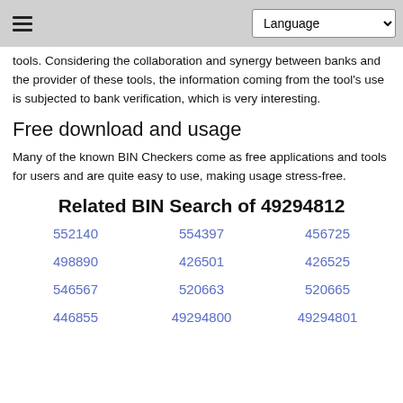Language
tools. Considering the collaboration and synergy between banks and the provider of these tools, the information coming from the tool's use is subjected to bank verification, which is very interesting.
Free download and usage
Many of the known BIN Checkers come as free applications and tools for users and are quite easy to use, making usage stress-free.
Related BIN Search of 49294812
552140
554397
456725
498890
426501
426525
546567
520663
520665
446855
49294800
49294801